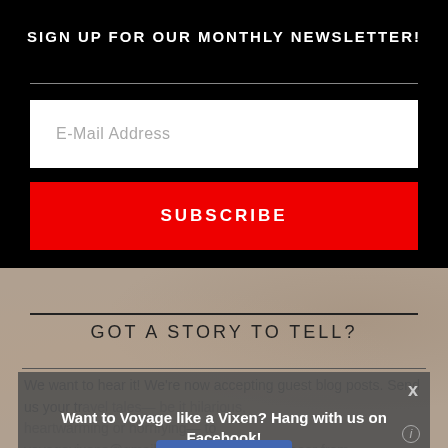SIGN UP FOR OUR MONTHLY NEWSLETTER!
E-Mail Address
SUBSCRIBE
GOT A STORY TO TELL?
[Figure (screenshot): Facebook popup overlay: 'Want to Voyage like a Vixen? Hang with us on Facebook!' with a Like button showing 15K likes, close X button, and info icon.]
We want to hear it! We're now accepting guest blog posts. Send us your travel tales— be it hilarious, heartwarming or horrifying— to voyagevixens@gmail.com. Promise, you'll hear from